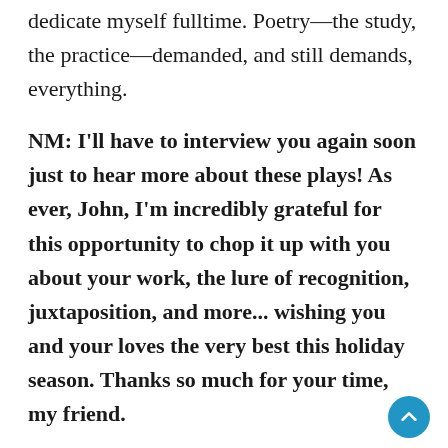dedicate myself fulltime. Poetry—the study, the practice—demanded, and still demands, everything.
NM: I'll have to interview you again soon just to hear more about these plays! As ever, John, I'm incredibly grateful for this opportunity to chop it up with you about your work, the lure of recognition, juxtaposition, and more... wishing you and your loves the very best this holiday season. Thanks so much for your time, my friend.